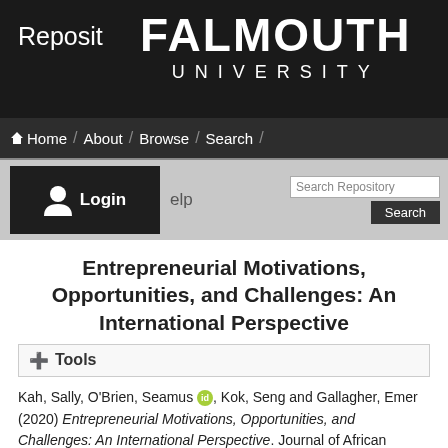Repository @ Falmouth University
[Figure (logo): Falmouth University logo with text FALMOUTH UNIVERSITY on dark background]
Entrepreneurial Motivations, Opportunities, and Challenges: An International Perspective
+ Tools
Kah, Sally, O'Brien, Seamus [orcid], Kok, Seng and Gallagher, Emer (2020) Entrepreneurial Motivations, Opportunities, and Challenges: An International Perspective. Journal of African Business, 1. pp. 1-21. ISSN 1522-8916